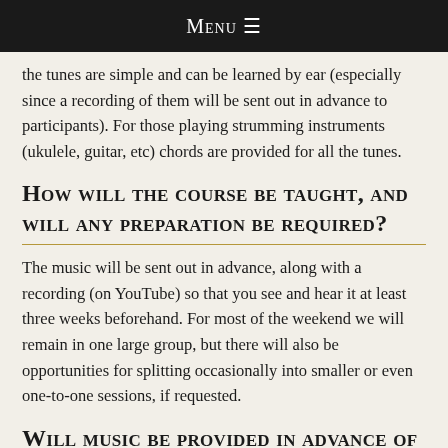Menu ☰
the tunes are simple and can be learned by ear (especially since a recording of them will be sent out in advance to participants). For those playing strumming instruments (ukulele, guitar, etc) chords are provided for all the tunes.
How will the course be taught, and will any preparation be required?
The music will be sent out in advance, along with a recording (on YouTube) so that you see and hear it at least three weeks beforehand. For most of the weekend we will remain in one large group, but there will also be opportunities for splitting occasionally into smaller or even one-to-one sessions, if requested.
Will music be provided in advance of the course?
The written music will be available on the Benslow Music